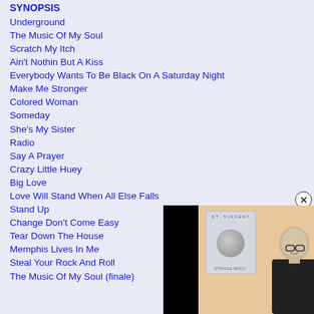SYNOPSIS
Underground
The Music Of My Soul
Scratch My Itch
Ain't Nothin But A Kiss
Everybody Wants To Be Black On A Saturday Night
Make Me Stronger
Colored Woman
Someday
She's My Sister
Radio
Say A Prayer
Crazy Little Huey
Big Love
Love Will Stand When All Else Falls
Stand Up
Change Don't Come Easy
Tear Down The House
Memphis Lives In Me
Steal Your Rock And Roll
The Music Of My Soul (finale)
[Figure (screenshot): Video player showing album cover of St. Vincent Strange Mercy and a person with glasses and shaved head]